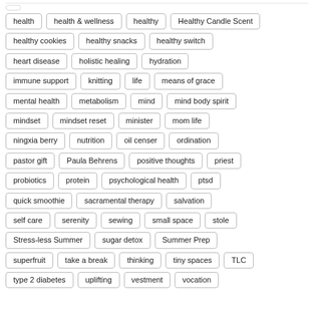health
health & wellness
healthy
Healthy Candle Scent
healthy cookies
healthy snacks
healthy switch
heart disease
holistic healing
hydration
immune support
knitting
life
means of grace
mental health
metabolism
mind
mind body spirit
mindset
mindset reset
minister
mom life
ningxia berry
nutrition
oil censer
ordination
pastor gift
Paula Behrens
positive thoughts
priest
probiotics
protein
psychological health
ptsd
quick smoothie
sacramental therapy
salvation
self care
serenity
sewing
small space
stole
Stress-less Summer
sugar detox
Summer Prep
superfruit
take a break
thinking
tiny spaces
TLC
type 2 diabetes
uplifting
vestment
vocation